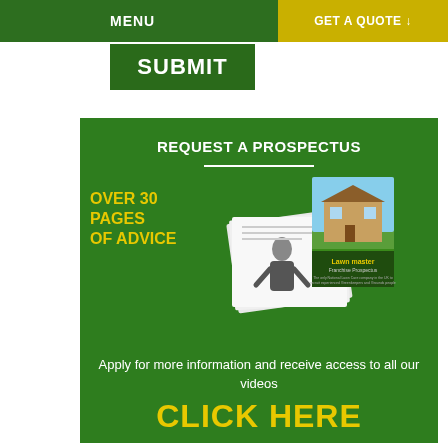MENU
GET A QUOTE ↓
SUBMIT
REQUEST A PROSPECTUS
OVER 30 PAGES OF ADVICE
[Figure (illustration): Franchise Prospectus booklet showing a house with green lawn and Lawn Master branding]
Apply for more information and receive access to all our videos
CLICK HERE